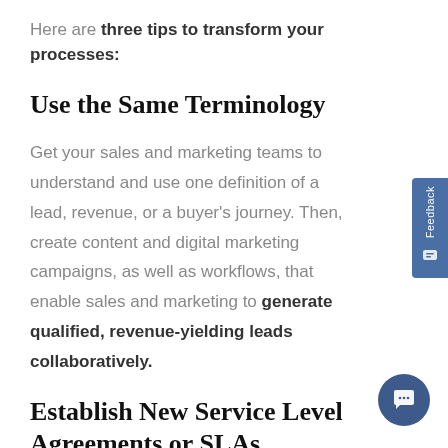Here are three tips to transform your processes:
Use the Same Terminology
Get your sales and marketing teams to understand and use one definition of a lead, revenue, or a buyer's journey. Then, create content and digital marketing campaigns, as well as workflows, that enable sales and marketing to generate qualified, revenue-yielding leads collaboratively.
Establish New Service Level Agreements or SLAs